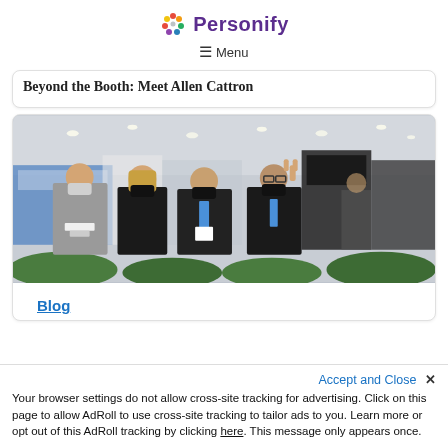Personify
Menu
Beyond the Booth: Meet Allen Cattron
[Figure (photo): Four people wearing face masks posing together at a trade show or conference exhibition hall, with booths and displays visible in the background.]
Blog
Accept and Close ✕
Your browser settings do not allow cross-site tracking for advertising. Click on this page to allow AdRoll to use cross-site tracking to tailor ads to you. Learn more or opt out of this AdRoll tracking by clicking here. This message only appears once.